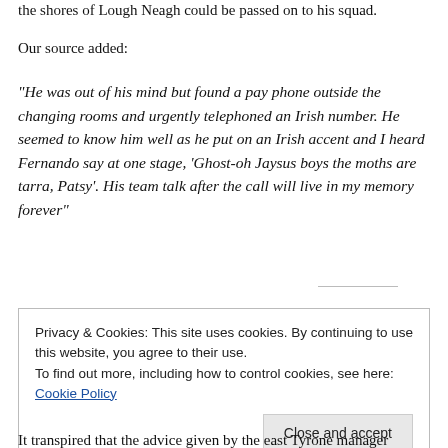Our source added:
“He was out of his mind but found a pay phone outside the changing rooms and urgently telephoned an Irish number. He seemed to know him well as he put on an Irish accent and I heard Fernando say at one stage, ‘Ghost-oh Jaysus boys the moths are tarra, Patsy’. His team talk after the call will live in my memory forever”
Privacy & Cookies: This site uses cookies. By continuing to use this website, you agree to their use.
To find out more, including how to control cookies, see here: Cookie Policy
It transpired that the advice given by the east Tyrone manager